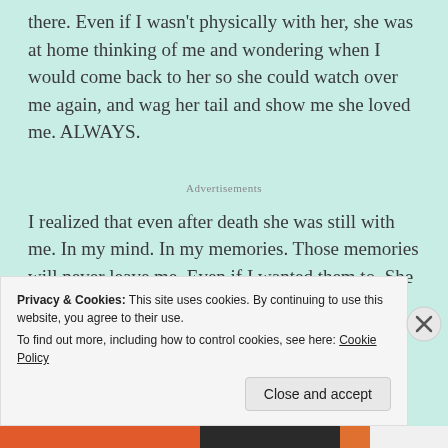there. Even if I wasn't physically with her, she was at home thinking of me and wondering when I would come back to her so she could watch over me again, and wag her tail and show me she loved me. ALWAYS.
Advertisements
I realized that even after death she was still with me. In my mind. In my memories. Those memories will never leave me. Even if I wanted them to. She would always be there, just like when she was alive. I know. I'm
Privacy & Cookies: This site uses cookies. By continuing to use this website, you agree to their use.
To find out more, including how to control cookies, see here: Cookie Policy
Close and accept